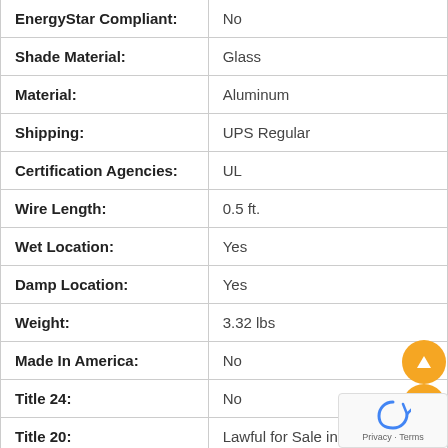| Attribute | Value |
| --- | --- |
| EnergyStar Compliant: | No |
| Shade Material: | Glass |
| Material: | Aluminum |
| Shipping: | UPS Regular |
| Certification Agencies: | UL |
| Wire Length: | 0.5 ft. |
| Wet Location: | Yes |
| Damp Location: | Yes |
| Weight: | 3.32 lbs |
| Made In America: | No |
| Title 24: | No |
| Title 20: | Lawful for Sale in California |